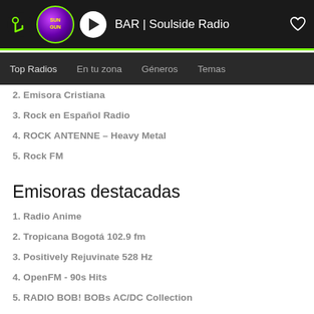BAR | Soulside Radio
Top Radios  En tu zona  Géneros  Temas
2. Emisora Cristiana
3. Rock en Español Radio
4. ROCK ANTENNE – Heavy Metal
5. Rock FM
Emisoras destacadas
1. Radio Anime
2. Tropicana Bogotá 102.9 fm
3. Positively Rejuvinate 528 Hz
4. OpenFM - 90s Hits
5. RADIO BOB! BOBs AC/DC Collection
Emisoras populares